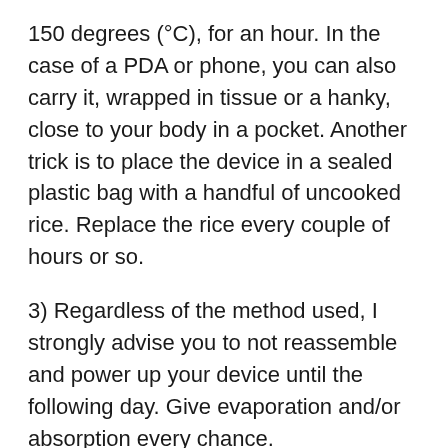150 degrees (°C), for an hour. In the case of a PDA or phone, you can also carry it, wrapped in tissue or a hanky, close to your body in a pocket. Another trick is to place the device in a sealed plastic bag with a handful of uncooked rice. Replace the rice every couple of hours or so.
3) Regardless of the method used, I strongly advise you to not reassemble and power up your device until the following day. Give evaporation and/or absorption every chance.
If you are lucky, your device will power up and function just fine — good luck and how quickly you removed the power being the key contributors to your success. If, however, you power up and your device functions strangely, or not at all, you may be able to isolate and replace the malfunctioning component (if you're an experienced